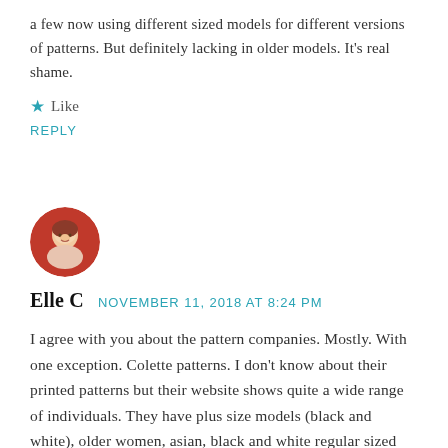a few now using different sized models for different versions of patterns. But definitely lacking in older models. It's real shame.
★ Like
REPLY
[Figure (photo): Round avatar photo of a woman with red/orange background, vintage style illustration]
Elle C    NOVEMBER 11, 2018 AT 8:24 PM
I agree with you about the pattern companies. Mostly. With one exception. Colette patterns. I don't know about their printed patterns but their website shows quite a wide range of individuals. They have plus size models (black and white), older women, asian, black and white regular sized models. They could do better though, I would like to see a model wearing the hijab. I would love to patronize Colette, but their